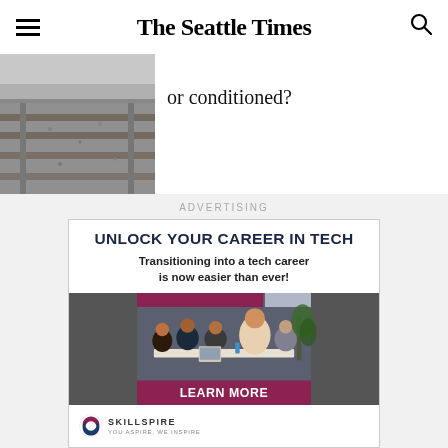The Seattle Times
or conditioned?
[Figure (photo): Photo of railroad tracks with gravel ballast, cropped to show the top portion]
ADVERTISING
[Figure (other): Skillspire advertisement: UNLOCK YOUR CAREER IN TECH - Transitioning into a tech career is now easier than ever! with photo of diverse group in office meeting and LEARN MORE button with Skillspire logo]